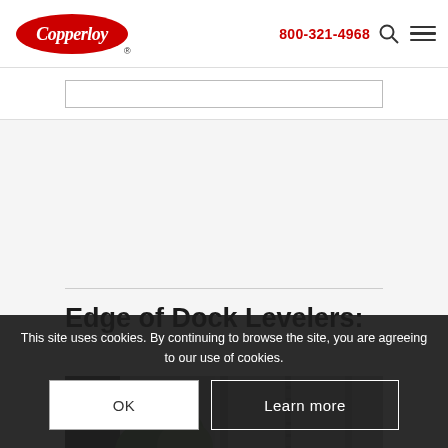[Figure (logo): Copperloy logo - red oval with white script text 'Copperloy' and registration mark]
800-321-4968
Edge of Dock Levelers:
[Figure (photo): Photo of dock leveler equipment at a loading dock, showing metal framing and a truck trailer, trees visible in background]
This site uses cookies. By continuing to browse the site, you are agreeing to our use of cookies.